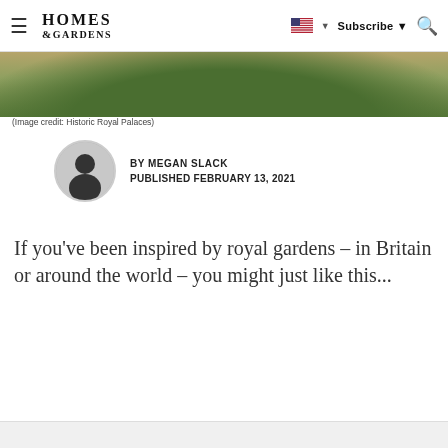HOMES & GARDENS — Subscribe
[Figure (photo): Aerial or wide-angle photo of a royal garden with green lawn and circular form, partially visible at top of page]
(Image credit: Historic Royal Palaces)
BY MEGAN SLACK
PUBLISHED FEBRUARY 13, 2021
If you've been inspired by royal gardens – in Britain or around the world – you might just like this...